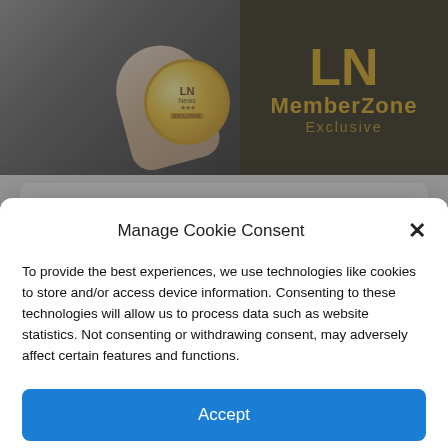[Figure (screenshot): LN News MemberZone Exclusive banner with gold coin logo and finger pressing button, dark background]
Would you support Mike Pence running for President?
[Figure (screenshot): Poll buttons: Yes, No, I'm not sure]
Manage Cookie Consent
To provide the best experiences, we use technologies like cookies to store and/or access device information. Consenting to these technologies will allow us to process data such as website statistics. Not consenting or withdrawing consent, may adversely affect certain features and functions.
Accept
Cookie Policy  Privacy Policy